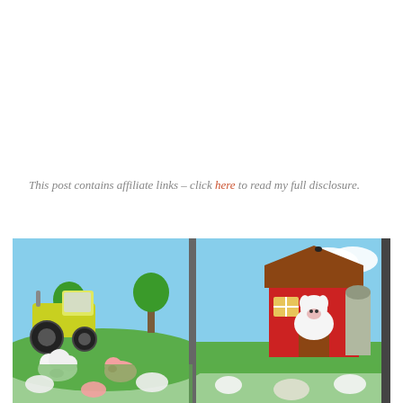This post contains affiliate links – click here to read my full disclosure.
[Figure (photo): Two children's farm-themed illustrated pages/cards showing cartoon farm animals (sheep, pigs, cows) and a green tractor on the left card, and a red barn with a cow peeking out on the right card, both set against a light blue sky with green grass. Below both cards are scattered farm animal cutout stickers.]